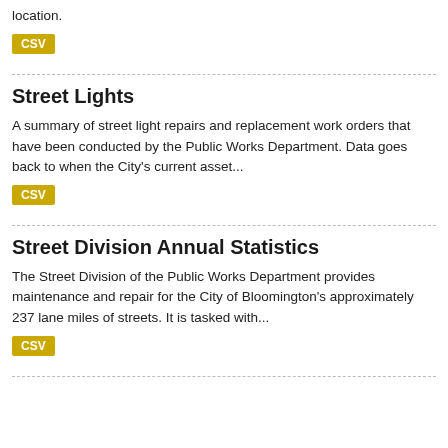location.
CSV
Street Lights
A summary of street light repairs and replacement work orders that have been conducted by the Public Works Department. Data goes back to when the City's current asset...
CSV
Street Division Annual Statistics
The Street Division of the Public Works Department provides maintenance and repair for the City of Bloomington's approximately 237 lane miles of streets. It is tasked with...
CSV